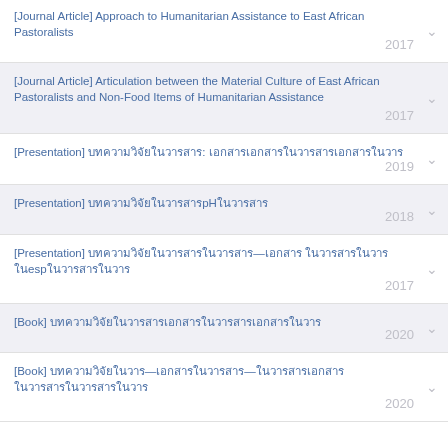[Journal Article] Approach to Humanitarian Assistance to East African Pastoralists 2017
[Journal Article] Articulation between the Material Culture of East African Pastoralists and Non-Food Items of Humanitarian Assistance 2017
[Presentation] บทความวิจัยในวารสาร: เอกสารเอกสารในวารสารเอกสาร 2019
[Presentation] บทความวิจัยในวารสารpHในวารสาร 2018
[Presentation] บทความวิจัยในวารสาร—เอกสาร ในวารสาร
espในวารสาร 2017
[Book] บทความวิจัยในวารสารเอกสารในวารสารเอกสารในวาร 2020
[Book] บทความวิจัยในวาร—เอกสารในวารสาร—ในวารสารเอกสาร 2020